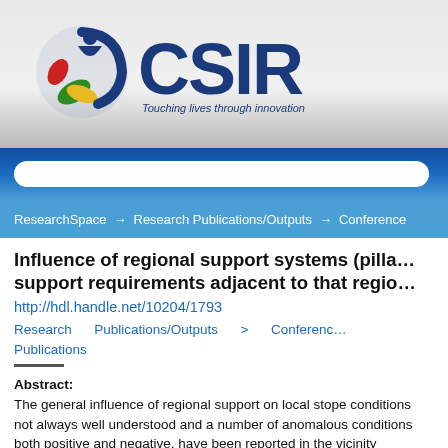[Figure (logo): CSIR logo with colorful leaf/people icon and text 'CSIR Touching lives through innovation']
ResearchSpace → Research Publications/Outputs → Conference
Influence of regional support systems (pillars) on support requirements adjacent to that region
http://hdl.handle.net/10204/1793
Research Publications/Outputs > Conference Publications
Abstract:
The general influence of regional support on local stope conditions is not always well understood and a number of anomalous conditions, both positive and negative, have been reported in the vicinity of regional support. Mining in similar conditions has...